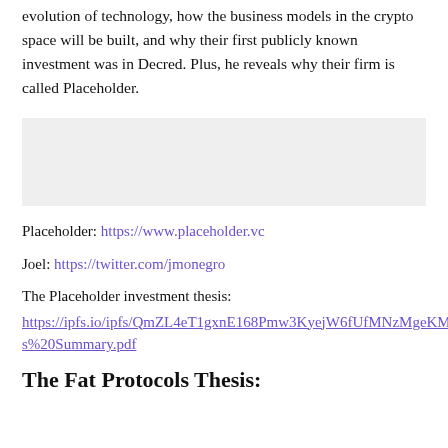evolution of technology, how the business models in the crypto space will be built, and why their first publicly known investment was in Decred. Plus, he reveals why their firm is called Placeholder.
[Figure (other): Light gray placeholder image box]
Placeholder: https://www.placeholder.vc
Joel: https://twitter.com/jmonegro
The Placeholder investment thesis: https://ipfs.io/ipfs/QmZL4eT1gxnE168Pmw3KyejW6fUfMNzMgeKMgcWJUfYGRj/Placeholder%20Thesis%20Summary.pdf
The Fat Protocols Thesis: